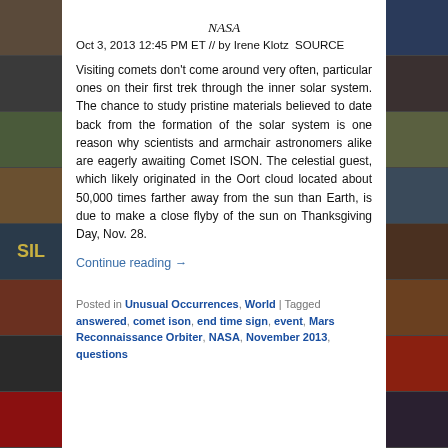NASA
Oct 3, 2013 12:45 PM ET // by Irene Klotz  SOURCE
Visiting comets don't come around very often, particular ones on their first trek through the inner solar system. The chance to study pristine materials believed to date back from the formation of the solar system is one reason why scientists and armchair astronomers alike are eagerly awaiting Comet ISON. The celestial guest, which likely originated in the Oort cloud located about 50,000 times farther away from the sun than Earth, is due to make a close flyby of the sun on Thanksgiving Day, Nov. 28.
Continue reading →
Posted in Unusual Occurrences, World | Tagged answered, comet ison, end time sign, event, Mars Reconnaissance Orbiter, NASA, November 2013, questions